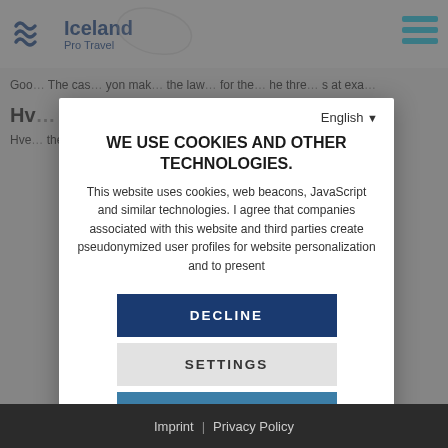[Figure (logo): Iceland Pro Travel logo with wave icon and Iceland map outline]
WE USE COOKIES AND OTHER TECHNOLOGIES.
This website uses cookies, web beacons, JavaScript and similar technologies. I agree that companies associated with this website and third parties create pseudonymized user profiles for website personalization and to present
DECLINE
SETTINGS
ACCEPT ALL
English
Imprint | Privacy Policy